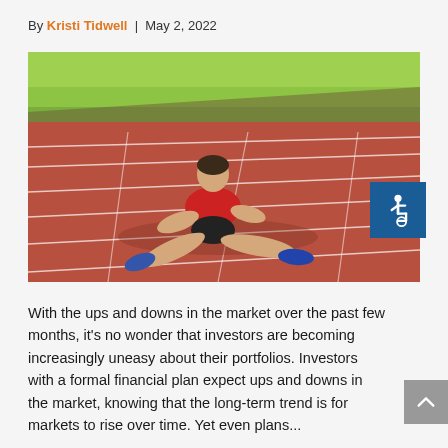By Kristi Tidwell | May 2, 2022
[Figure (photo): Person in red shirt lying exhausted on a red running track, with green grass field in background. Accessibility icon badge overlaid in the upper right corner of the image.]
With the ups and downs in the market over the past few months, it's no wonder that investors are becoming increasingly uneasy about their portfolios. Investors with a formal financial plan expect ups and downs in the market, knowing that the long-term trend is for markets to rise over time. Yet even plans...